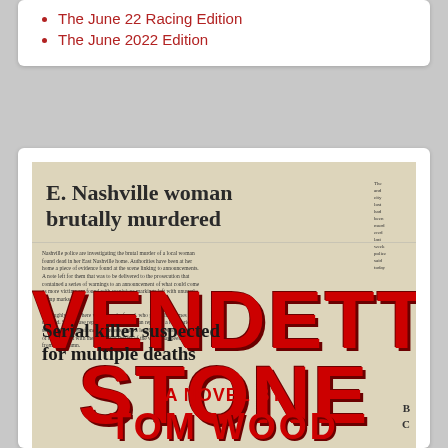The June 22 Racing Edition
The June 2022 Edition
[Figure (illustration): Book cover for 'Vendetta Stone: A Novel by Tom Wood'. Background is a newspaper with headline 'E. Nashville woman brutally murdered' and lower text 'Serial killer suspected for multiple deaths'. The title VENDETTA STONE is in large bold red text overlaid on the newspaper background. Below that reads 'A NOVEL BY' and 'TOM WOOD' in red text.]